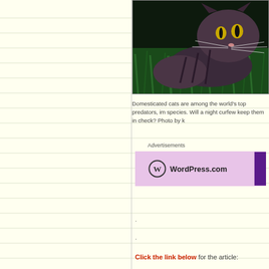[Figure (photo): A domesticated cat crouching low in green grass, photographed from a low angle. The cat has a striped/tabby pattern and appears to be stalking prey. Dark background with vivid green grass.]
Domesticated cats are among the world’s top predators, im species. Will a night curfew keep them in check? Photo by k
Advertisements
[Figure (screenshot): WordPress.com advertisement banner with pink/lavender background, showing WordPress logo (circle with W) and text WordPress.com, with a dark purple button on the right side.]
.
.
Click the link below for the article:
https://hakaimagazine.com